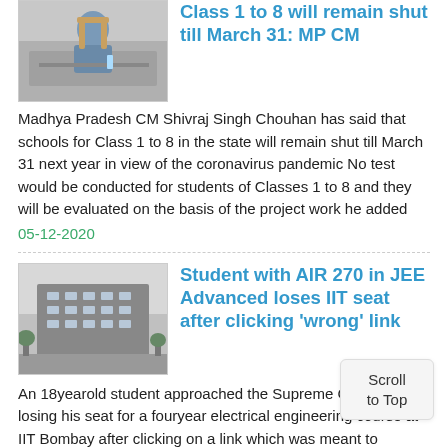Class 1 to 8 will remain shut till March 31: MP CM
Madhya Pradesh CM Shivraj Singh Chouhan has said that schools for Class 1 to 8 in the state will remain shut till March 31 next year in view of the coronavirus pandemic No test would be conducted for students of Classes 1 to 8 and they will be evaluated on the basis of the project work he added
05-12-2020
Student with AIR 270 in JEE Advanced loses IIT seat after clicking 'wrong' link
An 18yearold student approached the Supreme Court after losing his seat for a fouryear electrical engineering course at IIT Bombay after clicking on a link which was meant to withdraw from the process The